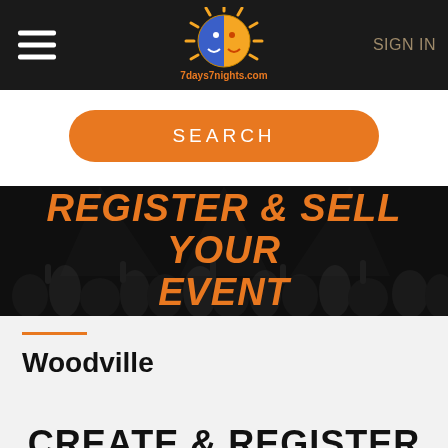7days7nights.com — SIGN IN
[Figure (logo): 7days7nights.com sun/moon logo with colorful rays on dark header bar]
SEARCH
[Figure (photo): Black and white crowd photo with orange text overlay: REGISTER & SELL YOUR EVENT]
Woodville
CREATE & REGISTER